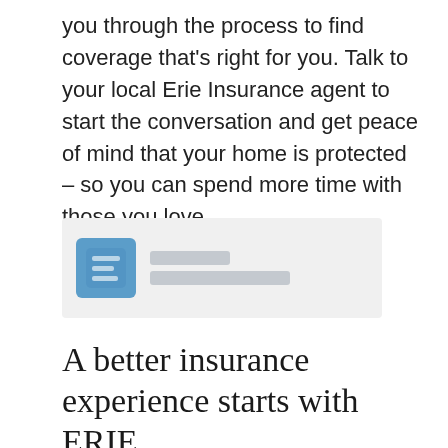you through the process to find coverage that's right for you. Talk to your local Erie Insurance agent to start the conversation and get peace of mind that your home is protected – so you can spend more time with those you love.
[Figure (logo): Erie Insurance logo (blurred): blue square icon on the left, with blurred gray text lines to the right representing the Erie Insurance wordmark]
A better insurance experience starts with ERIE.